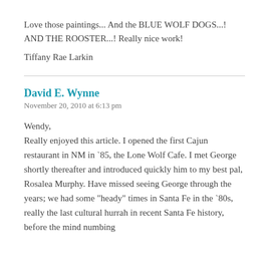Love those paintings... And the BLUE WOLF DOGS...! AND THE ROOSTER...! Really nice work!
Tiffany Rae Larkin
David E. Wynne
November 20, 2010 at 6:13 pm
Wendy,
Really enjoyed this article. I opened the first Cajun restaurant in NM in `85, the Lone Wolf Cafe. I met George shortly thereafter and introduced quickly him to my best pal, Rosalea Murphy. Have missed seeing George through the years; we had some "heady" times in Santa Fe in the `80s, really the last cultural hurrah in recent Santa Fe history, before the mind numbing